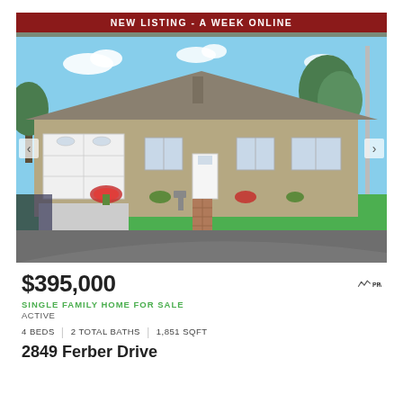[Figure (photo): Exterior photo of a single-story ranch-style home with tan/beige stucco siding, attached two-car white garage, front door with sidelights, green lawn, landscaping with red flowers, brick walkway, blue sky with scattered clouds. Navigation arrows on left and right sides.]
NEW LISTING - A WEEK ONLINE
$395,000
[Figure (logo): PPMLS logo with mountain peaks icon]
SINGLE FAMILY HOME FOR SALE
ACTIVE
4 BEDS  |  2 TOTAL BATHS  |  1,851 SQFT
2849 Ferber Drive